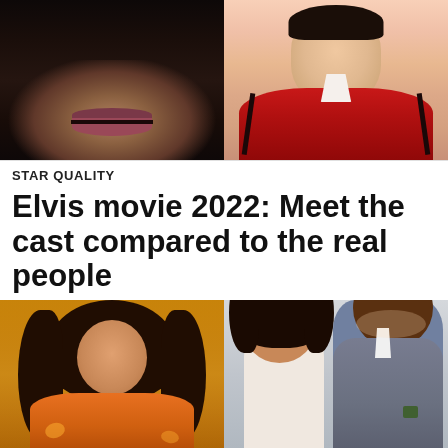[Figure (photo): Two side-by-side photos: left shows a close-up of a woman's face in dark dramatic lighting focusing on her lips; right shows Elvis Presley in a red jacket with white collar.]
STAR QUALITY
Elvis movie 2022: Meet the cast compared to the real people
[Figure (photo): Two side-by-side photos: left shows a young woman with long curly brown hair wearing an orange floral top in a luxurious golden setting; right shows the same young woman with curly hair posing with a large smiling man in a gray jacket.]